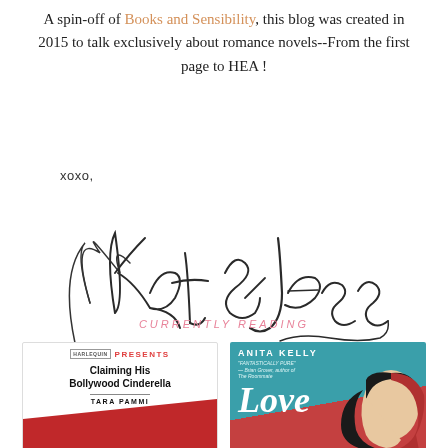A spin-off of Books and Sensibility, this blog was created in 2015 to talk exclusively about romance novels--From the first page to HEA !
[Figure (illustration): Handwritten cursive signature reading 'xoxo, Kat & Jess' in dark ink on white background]
CURRENTLY READING
[Figure (illustration): Book cover: Harlequin Presents - Claiming His Bollywood Cinderella by Tara Pammi, white cover with red diagonal design]
[Figure (illustration): Book cover: Love — by Anita Kelly, teal and red cover with illustrated face]